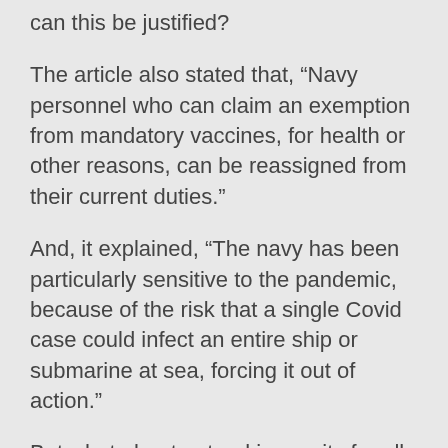can this be justified?
The article also stated that, “Navy personnel who can claim an exemption from mandatory vaccines, for health or other reasons, can be reassigned from their current duties.”
And, it explained, “The navy has been particularly sensitive to the pandemic, because of the risk that a single Covid case could infect an entire ship or submarine at sea, forcing it out of action.”
But what about natural immunity for all those who have had Covid? Since this is far more effective than a vaccine, why must those